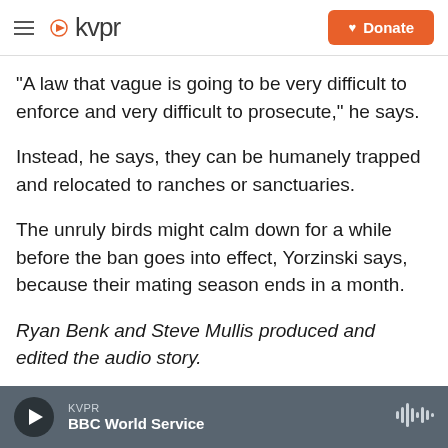kvpr | Donate
"A law that vague is going to be very difficult to enforce and very difficult to prosecute," he says.
Instead, he says, they can be humanely trapped and relocated to ranches or sanctuaries.
The unruly birds might calm down for a while before the ban goes into effect, Yorzinski says, because their mating season ends in a month.
Ryan Benk and Steve Mullis produced and edited the audio story.
KVPR | BBC World Service